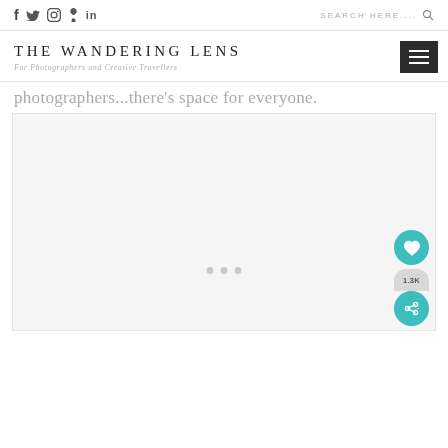Social icons: f, Twitter, Instagram, Pinterest, in | SEARCH HERE....
THE WANDERING LENS
For Photographers and Creative Travellers
photographers...there's space for everyone.
[Figure (photo): Large placeholder image area with three dots carousel indicator at bottom center. Floating teal heart button and share button with 1.3K count on bottom right.]